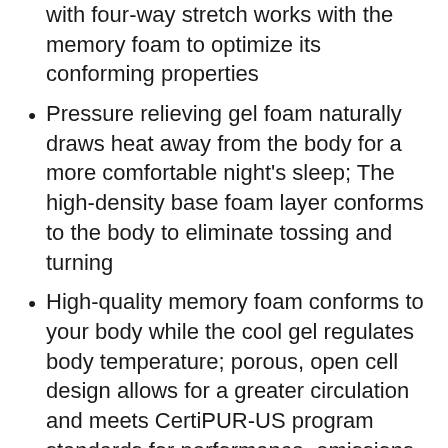with four-way stretch works with the memory foam to optimize its conforming properties
Pressure relieving gel foam naturally draws heat away from the body for a more comfortable night’s sleep; The high-density base foam layer conforms to the body to eliminate tossing and turning
High-quality memory foam conforms to your body while the cool gel regulates body temperature; porous, open cell design allows for a greater circulation and meets CertiPUR-US program standards for performance, emissions, and durability
Medium cushion-firm feel; can be used in RV’s and boats and is adjustable